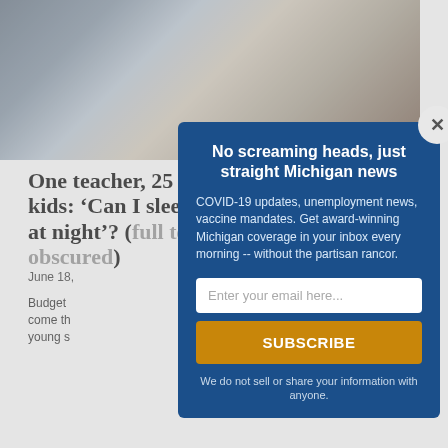[Figure (photo): Students sitting at desks in a classroom, viewed from behind, with books and papers on the tables]
One teacher, 25 kids: ‘Can I sleep at night?’ (full text partially obscured)
June 18, (date partially obscured)
Budget (text partially obscured) come th (text partially obscured) young s (text partially obscured)
No screaming heads, just straight Michigan news
COVID-19 updates, unemployment news, vaccine mandates. Get award-winning Michigan coverage in your inbox every morning -- without the partisan rancor.
Enter your email here...
SUBSCRIBE
We do not sell or share your information with anyone.